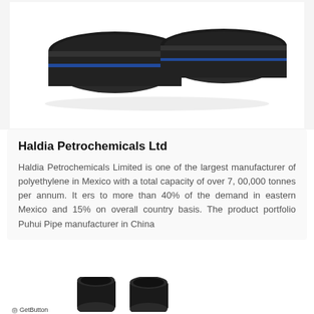[Figure (photo): Two large black HDPE/polyethylene pipes with a blue stripe, shown side by side on a white background]
Haldia Petrochemicals Ltd
Haldia Petrochemicals Limited is one of the largest manufacturer of polyethylene in Mexico with a total capacity of over 7, 00,000 tonnes per annum. It ers to more than 40% of the demand in eastern Mexico and 15% on overall country basis. The product portfolio Puhui Pipe manufacturer in China
[Figure (photo): Two short black HDPE pipe couplings/sockets shown at the bottom of the page, alongside a green WhatsApp chat button and GetButton label]